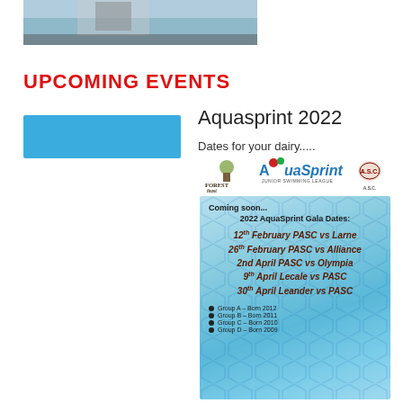[Figure (photo): Partial photo of a person near a swimming pool, cropped at top of page]
UPCOMING EVENTS
[Figure (other): Solid blue/cyan rectangle placeholder image]
Aquasprint 2022
Dates for your dairy.....
[Figure (logo): Logo bar with Forest Feast, AquaSprint Junior Swimming League, and A.S.C. logos]
[Figure (infographic): AquaSprint pool-background card showing 2022 AquaSprint Gala Dates: 12th February PASC vs Larne, 26th February PASC vs Alliance, 2nd April PASC vs Olympia, 9th April Lecale vs PASC, 30th April Leander vs PASC, with group listings Group A Born 2012, Group B Born 2011, Group C Born 2010, Group D Born 2009]